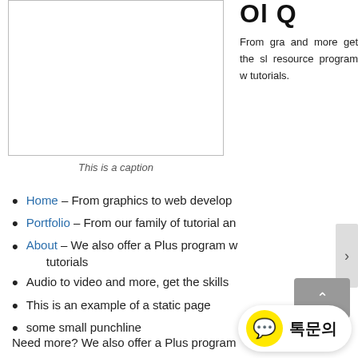[Figure (illustration): A blank/empty image placeholder with a thin border]
This is a caption
From graphics and more get the skills resource program with tutorials.
Home – From graphics to web develop
Portfolio – From our family of tutorial an
About – We also offer a Plus program w tutorials
Audio to video and more, get the skills
This is an example of a static page
some small punchline
Need more? We also offer a Plus program